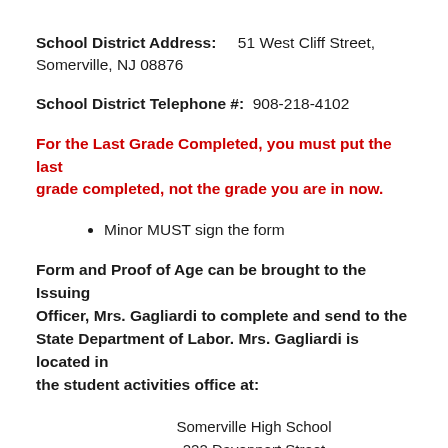School District Address: 51 West Cliff Street, Somerville, NJ 08876
School District Telephone #: 908-218-4102
For the Last Grade Completed, you must put the last grade completed, not the grade you are in now.
Minor MUST sign the form
Form and Proof of Age can be brought to the Issuing Officer, Mrs. Gagliardi to complete and send to the State Department of Labor. Mrs. Gagliardi is located in the student activities office at:
Somerville High School
222 Davenport Street
Somerville NJ 08876